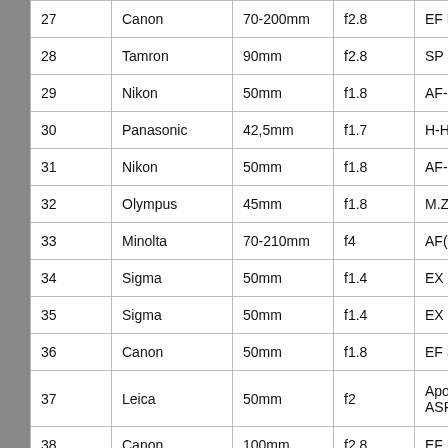| # | Brand | Focal Length | Aperture | Name |
| --- | --- | --- | --- | --- |
| 27 | Canon | 70-200mm | f2.8 | EF L (…) |
| 28 | Tamron | 90mm | f2.8 | SP Di (…) |
| 29 | Nikon | 50mm | f1.8 | AF-S (…) |
| 30 | Panasonic | 42,5mm | f1.7 | H-HS(…) |
| 31 | Nikon | 50mm | f1.8 | AF-S (…) |
| 32 | Olympus | 45mm | f1.8 | M.Zui(…) |
| 33 | Minolta | 70-210mm | f4 | AF (…) |
| 34 | Sigma | 50mm | f1.4 | EX D(…) |
| 35 | Sigma | 50mm | f1.4 | EX D(…) |
| 36 | Canon | 50mm | f1.8 | EF ST(…) |
| 37 | Leica | 50mm | f2 | Apo-S… ASPH(…) |
| 38 | Canon | 100mm | f2.8 | EF Ma(…) |
| 39 | Canon | 85mm | f1.8 | FDn (…) |
| 40 | Sony | 50mm | f1.8 | DT SA(…) |